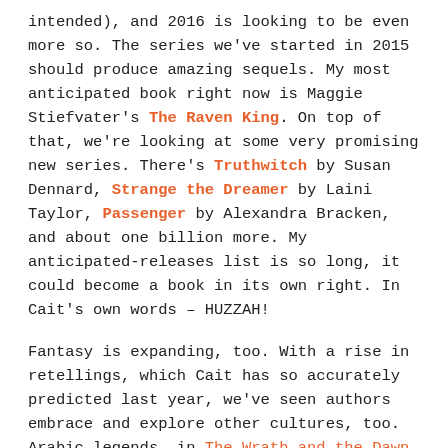intended), and 2016 is looking to be even more so. The series we've started in 2015 should produce amazing sequels. My most anticipated book right now is Maggie Stiefvater's The Raven King. On top of that, we're looking at some very promising new series. There's Truthwitch by Susan Dennard, Strange the Dreamer by Laini Taylor, Passenger by Alexandra Bracken, and about one billion more. My anticipated-releases list is so long, it could become a book in its own right. In Cait's own words – HUZZAH!
Fantasy is expanding, too. With a rise in retellings, which Cait has so accurately predicted last year, we've seen authors embrace and explore other cultures, too. Arabic legends, in The Wrath and the Dawn, A Thousand Nights. Chinese folklore, in Soundless. And next year with Kiersten White's Conquerors Saga joining the fray, we finally get to marry fantasy with something other than the run-of-the-mill western cultural stamp. It's going to be a beautiful ceremony,